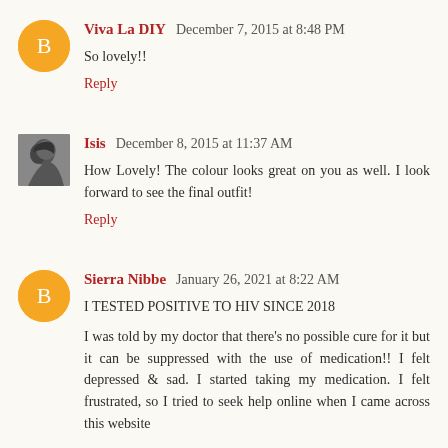Viva La DIY  December 7, 2015 at 8:48 PM
So lovely!!
Reply
[Figure (illustration): Profile photo thumbnail of Isis commenter, black and white photo of a woman]
Isis  December 8, 2015 at 11:37 AM
How Lovely! The colour looks great on you as well. I look forward to see the final outfit!
Reply
Sierra Nibbe  January 26, 2021 at 8:22 AM
I TESTED POSITIVE TO HIV SINCE 2018
I was told by my doctor that there's no possible cure for it but it can be suppressed with the use of medication!! I felt depressed & sad. I started taking my medication. I felt frustrated, so I tried to seek help online when I came across this website